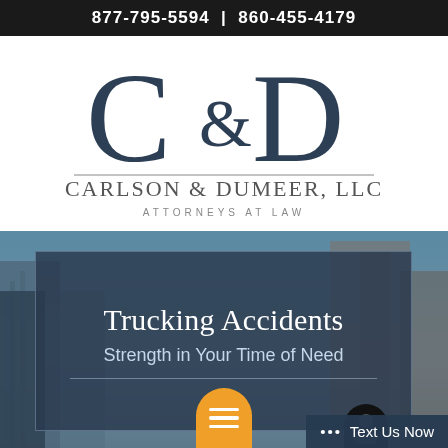877-795-5594 | 860-455-4179
[Figure (logo): Carlson & Dumeer, LLC Attorneys at Law logo with stylized C and D letterforms]
Trucking Accidents
Strength in Your Time of Need
... Text Us Now